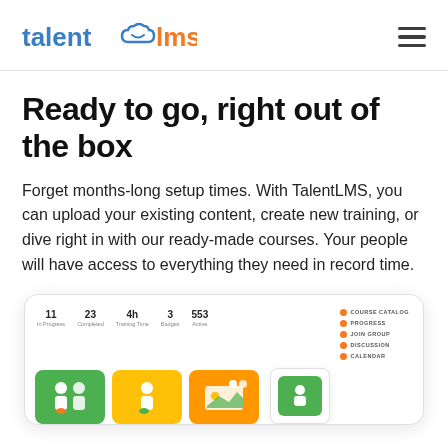talent lms
Ready to go, right out of the box
Forget months-long setup times. With TalentLMS, you can upload your existing content, create new training, or dive right in with our ready-made courses. Your people will have access to everything they need in record time.
[Figure (screenshot): TalentLMS dashboard screenshot showing stats row (11 In Progress, 23 Completed, 4h Training Time, 3 Badges, 553 Active) and navigation items (Course Catalog, Progress, Join Group, Discussion, Calendar) alongside course cards with green and yellow/orange backgrounds showing cartoon characters.]